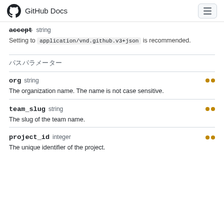GitHub Docs
accept  string
Setting to application/vnd.github.v3+json is recommended.
パスパラメーター
org  string  必須
The organization name. The name is not case sensitive.
team_slug  string  必須
The slug of the team name.
project_id  integer  必須
The unique identifier of the project.